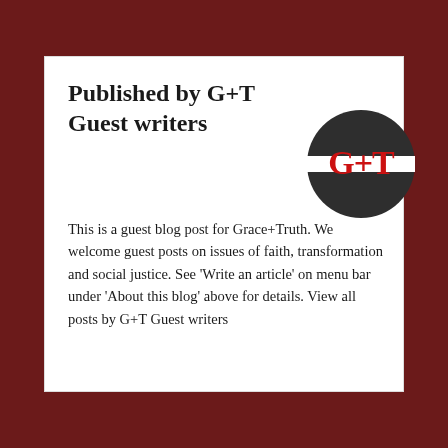Published by G+T Guest writers
[Figure (logo): G+T logo: dark circle with red G+T text and a horizontal line through the middle]
This is a guest blog post for Grace+Truth. We welcome guest posts on issues of faith, transformation and social justice. See 'Write an article' on menu bar under 'About this blog' above for details. View all posts by G+T Guest writers